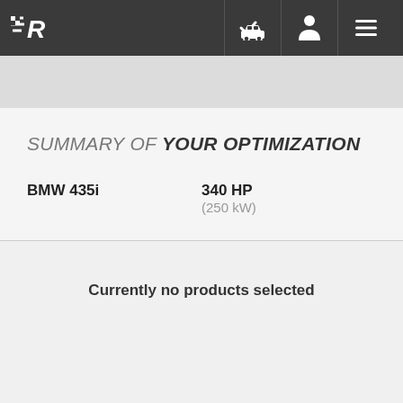[Figure (logo): Racing logo with checkered flag and R letter, white on dark background]
SUMMARY OF YOUR OPTIMIZATION
BMW 435i   340 HP (250 kW)
Currently no products selected